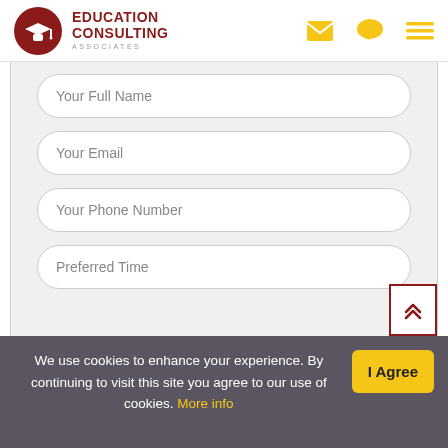EDUCATION CONSULTING ASSOCIATES
[Figure (screenshot): Web form with four input fields: Your Full Name, Your Email, Your Phone Number, Preferred Time, and a partial green submit button at the bottom. A scroll-to-top button with double chevrons is in the lower right.]
We use cookies to enhance your experience. By continuing to visit this site you agree to our use of cookies. More info
I Agree